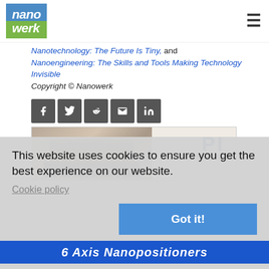[Figure (logo): Nanowerk logo with blue and green background]
Nanotechnology: The Future Is Tiny, and Nanoengineering: The Skills and Tools Making Technology Invisible
Copyright © Nanowerk
[Figure (infographic): Social media share buttons: Facebook, Twitter, Reddit, Email, LinkedIn]
[Figure (photo): PI (Physik Instrumente) advertisement banner showing a mechanical device with PI logo and 50 YEARS text]
This website uses cookies to ensure you get the best experience on our website.
Cookie policy
Got it!
6 Axis Nanopositioners